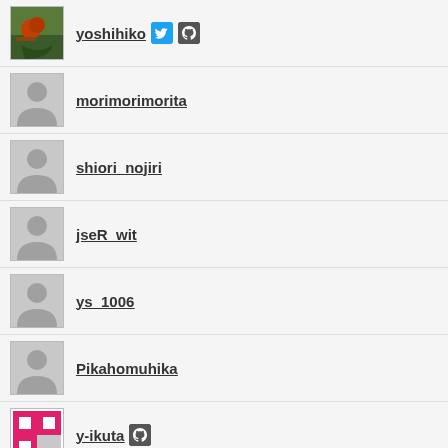yoshihiko
morimorimorita
shiori_nojiri
jseR_wit
ys_1006
Pikahomuhika
y-ikuta
coheysaito